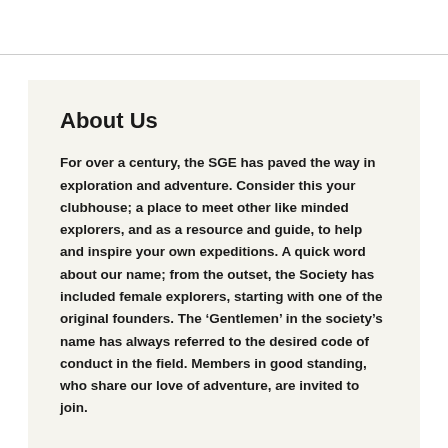About Us
For over a century, the SGE has paved the way in exploration and adventure. Consider this your clubhouse; a place to meet other like minded explorers, and as a resource and guide, to help and inspire your own expeditions. A quick word about our name; from the outset, the Society has included female explorers, starting with one of the original founders. The ‘Gentlemen’ in the society’s name has always referred to the desired code of conduct in the field. Members in good standing, who share our love of adventure, are invited to join.